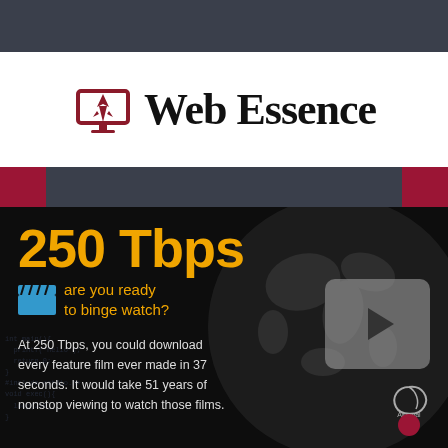[Figure (logo): Web Essence logo with a dark red computer monitor icon with a rocket/arrow symbol, followed by the text 'Web Essence' in large serif font]
[Figure (infographic): Dark infographic panel showing '250 Tbps' in large orange text with subtitle 'are you ready to binge watch?' in orange, a clapperboard icon, body text about downloading every feature film at 250 Tbps in 37 seconds and 51 years of nonstop viewing, a globe graphic in the background, a play button overlay, and an Akamai watermark logo]